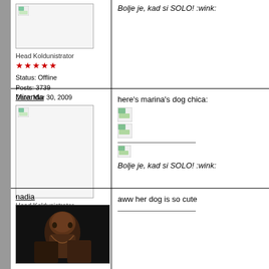Head Koldunistrator
★★★★★
Status: Offline
Posts: 3739
Date: Mar 30, 2009
Bolje je, kad si SOLO!  :wink:
Miranda
Head Koldunistrator
★★★★★
Status: Offline
Posts: 3739
Date: Apr 8, 2009
here's marina's dog chica:
Bolje je, kad si SOLO!  :wink:
nadia
aww her dog is so cute